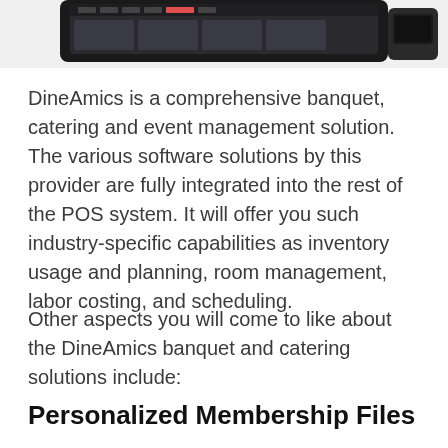[Figure (photo): Partial view of a POS terminal device (tablet-style touchscreen with a card reader) shown at the top of the page, cropped.]
DineAmics is a comprehensive banquet, catering and event management solution. The various software solutions by this provider are fully integrated into the rest of the POS system. It will offer you such industry-specific capabilities as inventory usage and planning, room management, labor costing, and scheduling.
Other aspects you will come to like about the DineAmics banquet and catering solutions include:
Personalized Membership Files